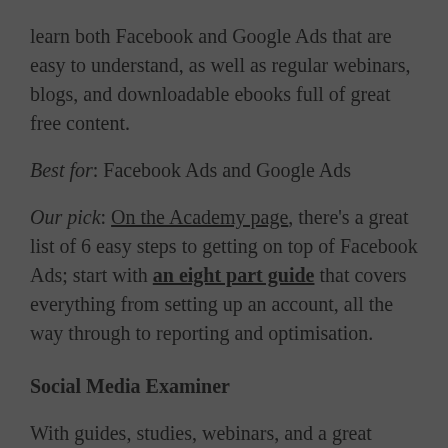learn both Facebook and Google Ads that are easy to understand, as well as regular webinars, blogs, and downloadable ebooks full of great free content.
Best for: Facebook Ads and Google Ads
Our pick: On the Academy page, there's a great list of 6 easy steps to getting on top of Facebook Ads; start with an eight part guide that covers everything from setting up an account, all the way through to reporting and optimisation.
Social Media Examiner
With guides, studies, webinars, and a great podcast to help you keep up to date with the world of social, Social